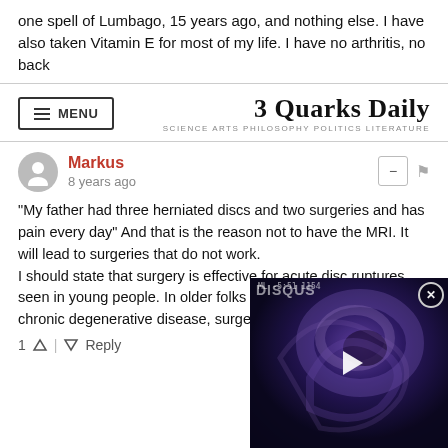one spell of Lumbago, 15 years ago, and nothing else. I have also taken Vitamin E for most of my life. I have no arthritis, no back
MENU | 3 Quarks Daily — SCIENCE ARTS PHILOSOPHY POLITICS LITERATURE
Markus · 8 years ago
"My father had three herniated discs and two surgeries and has pain every day" And that is the reason not to have the MRI. It will lead to surgeries that do not work.
I should state that surgery is effective for acute disc ruptures seen in young people. In older folks or people with lots of chronic degenerative disease, surgery is much less effective.
1 ↑ | ↓ Reply
Subscribe  Do Not Sell My Data
[Figure (screenshot): Video thumbnail overlay showing a swirling space/nebula image in dark blue/purple tones with a white play button triangle in the center. Has a DISQUS watermark and timecode ML -5:51 1154 in top right area. Close button (X in circle) in top right corner.]